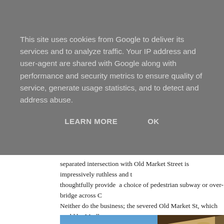This site uses cookies from Google to deliver its services and to analyze traffic. Your IP address and user-agent are shared with Google along with performance and security metrics to ensure quality of service, generate usage statistics, and to detect and address abuse.
LEARN MORE    OK
separated intersection with Old Market Street is impressively ruthless and t... thoughtfully provide  a choice of pedestrian subway or over-bridge across G... Neither do the business; the severed Old Market St, which could be Marlbo... now dead as a dodo.
[Figure (photo): Upward angled photograph of an ornate classical building facade with decorative columns, sculptural friezes, and ornamental ironwork balcony railings, photographed against a blue sky.]